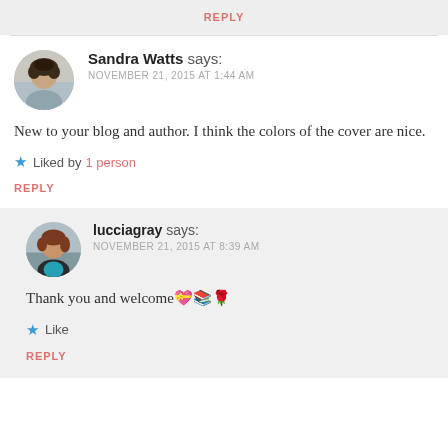REPLY
Sandra Watts says:
NOVEMBER 21, 2015 AT 1:44 AM
New to your blog and author. I think the colors of the cover are nice.
★ Liked by 1 person
REPLY
lucciagray says:
NOVEMBER 21, 2015 AT 8:39 AM
Thank you and welcome💝📚🌹
★ Like
REPLY